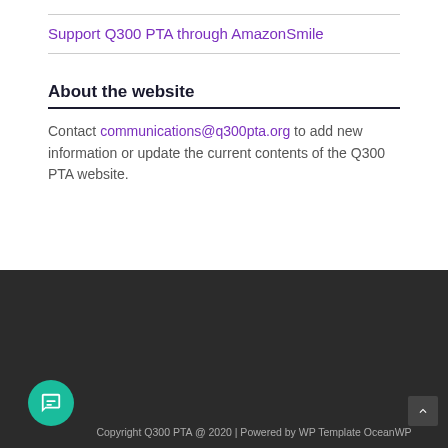Support Q300 PTA through AmazonSmile
About the website
Contact communications@q300pta.org to add new information or update the current contents of the Q300 PTA website.
Copyright Q300 PTA @ 2020 | Powered by WP Template OceanWP